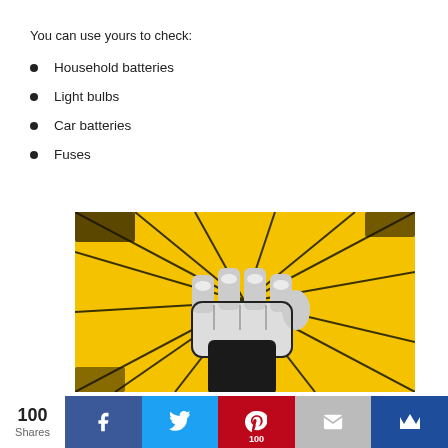You can use yours to check:
Household batteries
Light bulbs
Car batteries
Fuses
[Figure (illustration): Bold graphic illustration of a raised clenched fist in black and white on a yellow background with radiating black sunburst lines and distressed texture]
100 Shares | Facebook | Twitter | Pinterest 100 | Email | Crown